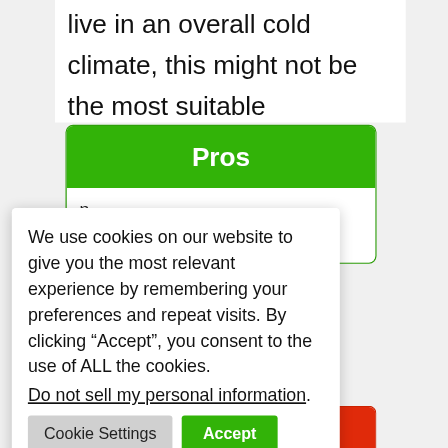live in an overall cold climate, this might not be the most suitable moisturizer for you.
Pros
We use cookies on our website to give you the most relevant experience by remembering your preferences and repeat visits. By clicking “Accept”, you consent to the use of ALL the cookies.
Do not sell my personal information.
Cons